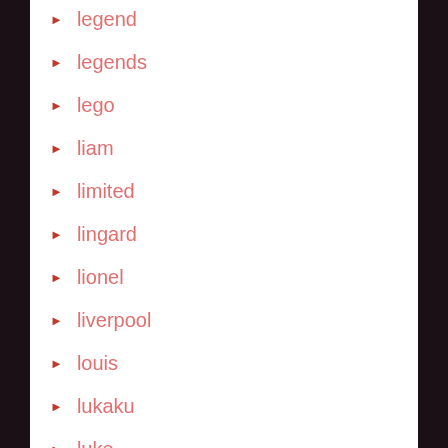legend
legends
lego
liam
limited
lingard
lionel
liverpool
louis
lukaku
luke
machester
maguire
maillot
managers